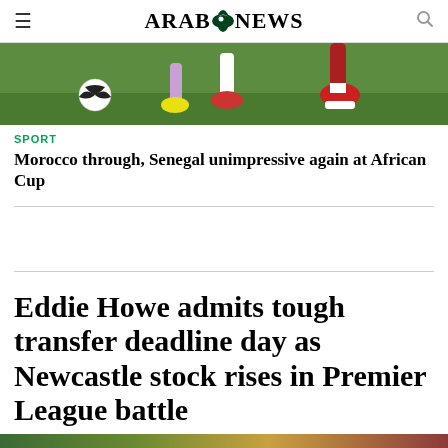ARAB NEWS
[Figure (photo): Soccer players feet on green grass field with a football, showing cleats and legs mid-game action]
SPORT
Morocco through, Senegal unimpressive again at African Cup
Eddie Howe admits tough transfer deadline day as Newcastle stock rises in Premier League battle
[Figure (photo): Partial bottom image strip with green and reddish tones]